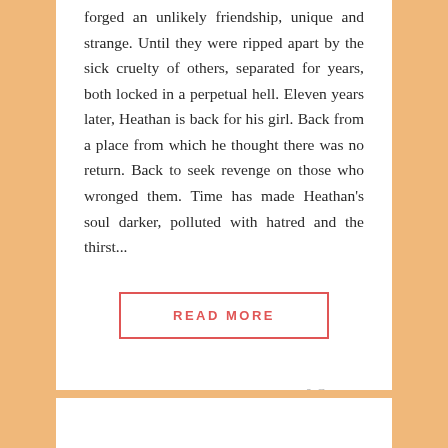forged an unlikely friendship, unique and strange. Until they were ripped apart by the sick cruelty of others, separated for years, both locked in a perpetual hell. Eleven years later, Heathan is back for his girl. Back from a place from which he thought there was no return. Back to seek revenge on those who wronged them. Time has made Heathan's soul darker, polluted with hatred and the thirst...
READ MORE
0 Comments